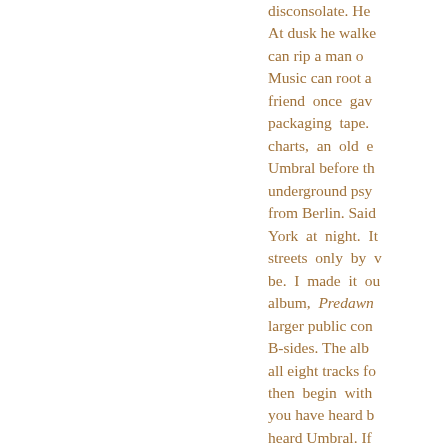disconsolate. He At dusk he walke can rip a man o Music can root a friend once gav packaging tape. charts, an old e Umbral before th underground psy from Berlin. Said York at night. It streets only by v be. I made it ou album, Predawn larger public con B-sides. The alb all eight tracks fo then begin with you have heard b heard Umbral. If early stuff then Packaged in a g includes a ton o the CD-R that sit